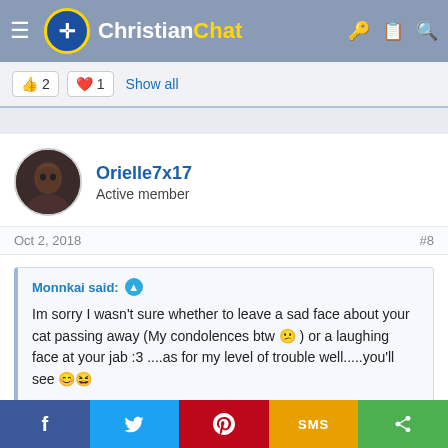Christian Chat
👍 2   ❤️ 1   Show all
Orielle7x17 - Active member
Oct 2, 2018   #8
Monnkai said: Im sorry I wasn't sure whether to leave a sad face about your cat passing away (My condolences btw 😕 ) or a laughing face at your jab :3 ....as for my level of trouble well.....you'll see 😊😆